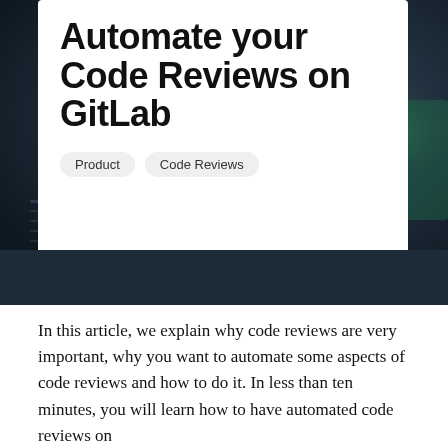[Figure (photo): Dark blurred background image of a laptop/code, behind a white card overlay]
Automate your Code Reviews on GitLab
Product
Code Reviews
In this article, we explain why code reviews are very important, why you want to automate some aspects of code reviews and how to do it. In less than ten minutes, you will learn how to have automated code reviews on